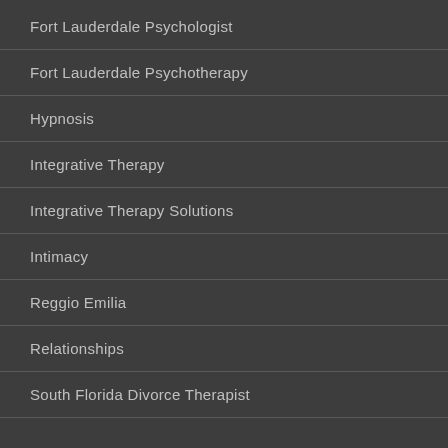Fort Lauderdale Psychologist
Fort Lauderdale Psychotherapy
Hypnosis
Integrative Therapy
Integrative Therapy Solutions
Intimacy
Reggio Emilia
Relationships
South Florida Divorce Therapist